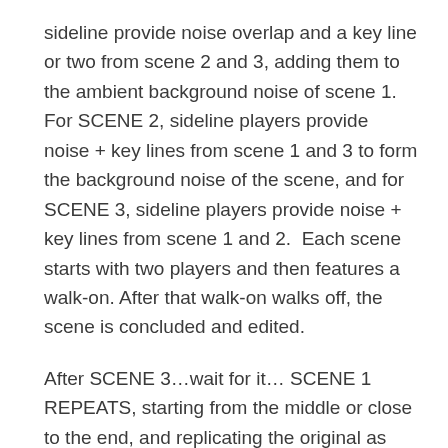sideline provide noise overlap and a key line or two from scene 2 and 3, adding them to the ambient background noise of scene 1. For SCENE 2, sideline players provide noise + key lines from scene 1 and 3 to form the background noise of the scene, and for SCENE 3, sideline players provide noise + key lines from scene 1 and 2.  Each scene starts with two players and then features a walk-on. After that walk-on walks off, the scene is concluded and edited.
After SCENE 3…wait for it… SCENE 1 REPEATS, starting from the middle or close to the end, and replicating the original as similar as possible. Now the noises are all making sense, eh? THEN this form explodes all over the place like the man who ate too